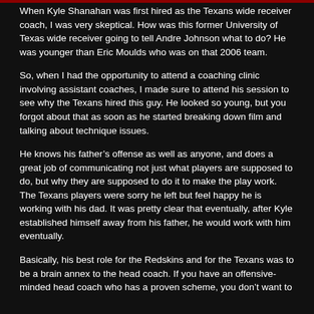When Kyle Shanahan was first hired as the Texans wide receiver coach, I was very skeptical. How was this former University of Texas wide receiver going to tell Andre Johnson what to do? He was younger than Eric Moulds who was on that 2006 team.
So, when I had the opportunity to attend a coaching clinic involving assistant coaches, I made sure to attend his session to see why the Texans hired this guy. He looked so young, but you forgot about that as soon as he started breaking down film and talking about technique issues.
He knows his father's offense as well as anyone, and does a great job of communicating not just what players are supposed to do, but why they are supposed to do it to make the play work. The Texans players were sorry he left but feel happy he is working with his dad. It was pretty clear that eventually, after Kyle established himself away from his father, he would work with him eventually.
Basically, his best role for the Redskins and for the Texans was to be a brain annex to the head coach. If you have an offensive-minded head coach who has a proven scheme, you don't want to